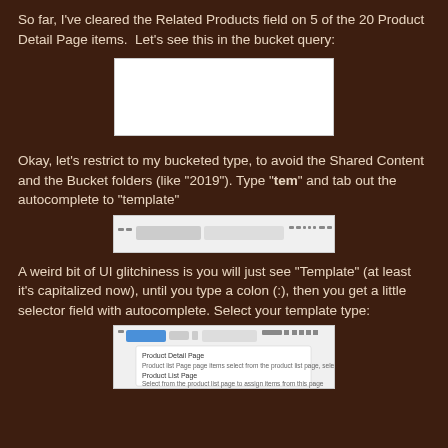So far, I've cleared the Related Products field on 5 of the 20 Product Detail Page items.  Let's see this in the bucket query:
[Figure (screenshot): Screenshot of a blank white UI panel showing a bucket query result]
Okay, let's restrict to my bucketed type, to avoid the Shared Content and the Bucket folders (like "2019"). Type "tem" and tab out the autocomplete to "template"
[Figure (screenshot): Screenshot of a UI toolbar/filter bar with a search field showing autocomplete]
A weird bit of UI glitchiness is you will just see "Template" (at least it's capitalized now), until you type a colon (:), then you get a little selector field with autocomplete. Select your template type:
[Figure (screenshot): Screenshot of UI showing template type selector with autocomplete dropdown including Product Detail Page and Product List Page options]